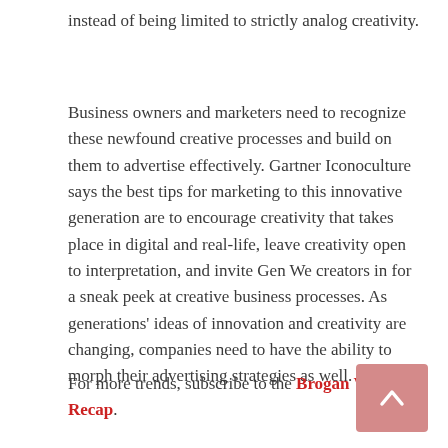instead of being limited to strictly analog creativity.
Business owners and marketers need to recognize these newfound creative processes and build on them to advertise effectively. Gartner Iconoculture says the best tips for marketing to this innovative generation are to encourage creativity that takes place in digital and real-life, leave creativity open to interpretation, and invite Gen We creators in for a sneak peek at creative business processes. As generations' ideas of innovation and creativity are changing, companies need to have the ability to morph their advertising strategies as well.
For more trends, subscribe to the Brogan Weekly Recap.